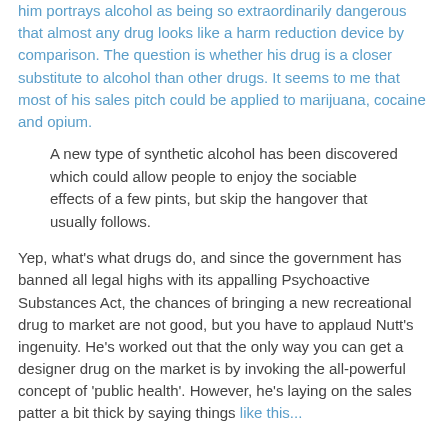him portrays alcohol as being so extraordinarily dangerous that almost any drug looks like a harm reduction device by comparison. The question is whether his drug is a closer substitute to alcohol than other drugs. It seems to me that most of his sales pitch could be applied to marijuana, cocaine and opium.
A new type of synthetic alcohol has been discovered which could allow people to enjoy the sociable effects of a few pints, but skip the hangover that usually follows.
Yep, what's what drugs do, and since the government has banned all legal highs with its appalling Psychoactive Substances Act, the chances of bringing a new recreational drug to market are not good, but you have to applaud Nutt's ingenuity. He's worked out that the only way you can get a designer drug on the market is by invoking the all-powerful concept of 'public health'. However, he's laying on the sales patter a bit thick by saying things like this...